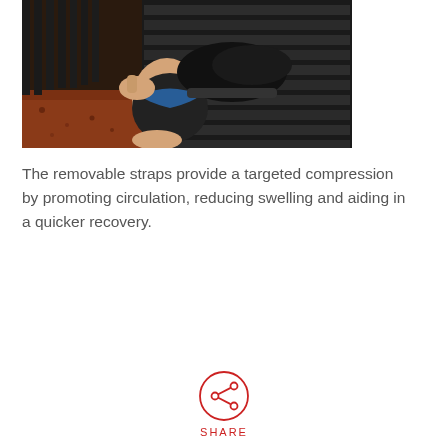[Figure (photo): Person wearing a black ankle compression brace with blue strap detail, sitting on outdoor steps/bleachers, adjusting the brace. Reddish rubber mulch ground visible below.]
The removable straps provide a targeted compression by promoting circulation, reducing swelling and aiding in a quicker recovery.
[Figure (other): Red circular share button icon with a share/network symbol inside, labeled SHARE below.]